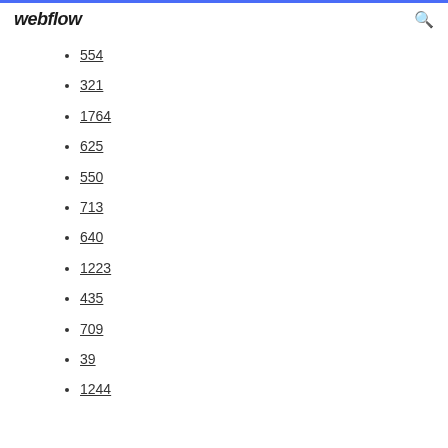webflow
554
321
1764
625
550
713
640
1223
435
709
39
1244